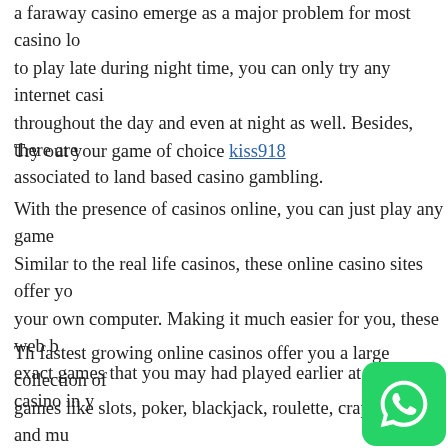a faraway casino emerge as a major problem for most casino lo... to play late during night time, you can only try any internet casi... throughout the day and even at night as well. Besides, there are associated to land based casino gambling.
Try out your game of choice kiss918
With the presence of casinos online, you can just play any game... Similar to the real life casinos, these online casino sites offer yo... your own computer. Making it much easier for you, these web b... exact games that you may had played earlier at a live casino in y...
Th fastest growing online casinos offer you a large collection of... games like slots, poker, blackjack, roulette, craps, keno and mu... features, you can enjoy these available games right from your o...
Online casino and live casino-Whats the main differen...
The main difference between an online casino and a live casino...